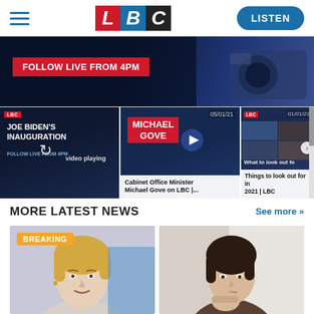[Figure (screenshot): LBC website header with hamburger menu, LBC logo (red L, blue B, black C), and blue LISTEN button]
[Figure (screenshot): Hero banner with red label 'FOLLOW LIVE FROM 4PM' over dark blue background with camera silhouette]
[Figure (screenshot): Video strip: three video thumbnails. First: Joe Biden's Inauguration 'video playing'. Second: Michael Gove on LBC dated 05/01/21. Third: Things to look out for in 2021 | LBC dated 01/01/21]
MORE LATEST NEWS
See more >>
[Figure (photo): BREAKING badge over photo of blonde woman (Liz Truss)]
[Figure (photo): Photo of young woman with hand near face, looking concerned]